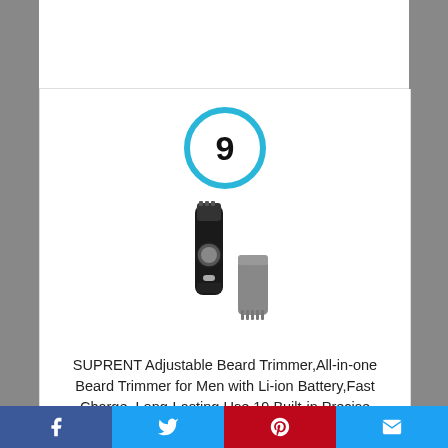[Figure (other): Rank badge: a circle with blue border containing the number 9]
[Figure (photo): Product photo of a black beard trimmer with a detachable comb attachment]
SUPRENT Adjustable Beard Trimmer,All-in-one Beard Trimmer for Men with Li-ion Battery,Fast Charge, Long-Lasting Use,19 Built-in Precise Lengths,USB Charging
Facebook | Twitter | Pinterest | Email social share bar